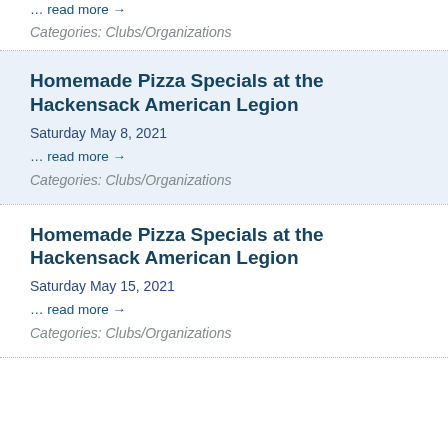… read more →
Categories: Clubs/Organizations
Homemade Pizza Specials at the Hackensack American Legion
Saturday May 8, 2021
… read more →
Categories: Clubs/Organizations
Homemade Pizza Specials at the Hackensack American Legion
Saturday May 15, 2021
… read more →
Categories: Clubs/Organizations